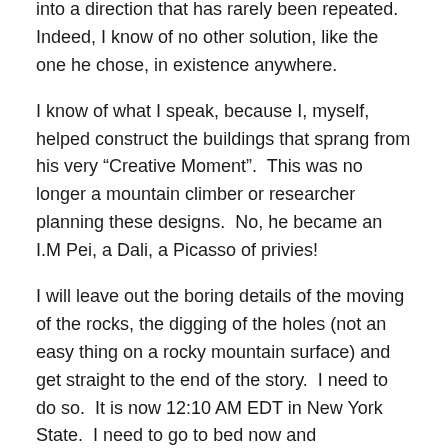into a direction that has rarely been repeated.  Indeed, I know of no other solution, like the one he chose, in existence anywhere.
I know of what I speak, because I, myself, helped construct the buildings that sprang from his very “Creative Moment”.  This was no longer a mountain climber or researcher planning these designs.  No, he became an I.M Pei, a Dali, a Picasso of privies!
I will leave out the boring details of the moving of the rocks, the digging of the holes (not an easy thing on a rocky mountain surface) and get straight to the end of the story.  I need to do so.  It is now 12:10 AM EDT in New York State.  I need to go to bed now and contemplate the medical procedure I am having later today.  If I was one of those sleazy, hack writers I would go for the obvious irony here, that I was going to have a colonoscopy in ten hours